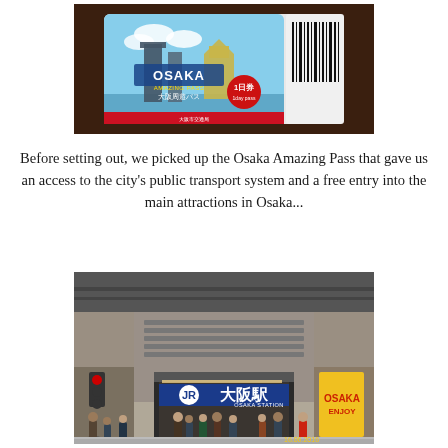[Figure (photo): Photo of an Osaka Amazing Pass transit card (1-day pass) placed on a dark wooden surface. The card shows a skyline with towers and a castle, the text 'OSAKA AMAZING PASS 大阪周遊パス' and a red circle with '1日券 1day pass'. A barcode is visible on the right side.]
Before setting out, we picked up the Osaka Amazing Pass that gave us an access to the city's public transport system and a free entry into the main attractions in Osaka...
[Figure (photo): Photo of the entrance to JR Osaka Station (大阪駅) showing the large JR logo sign with Japanese characters '大阪駅' and 'OSAKA STATION' in blue. People are gathered at the entrance. Dated 16.06.2016.]